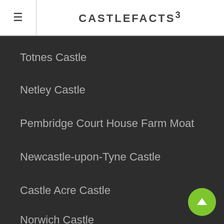CASTLEFACTS³
Totnes Castle
Netley Castle
Pembridge Court House Farm Moat
Newcastle-upon-Tyne Castle
Castle Acre Castle
Norwich Castle